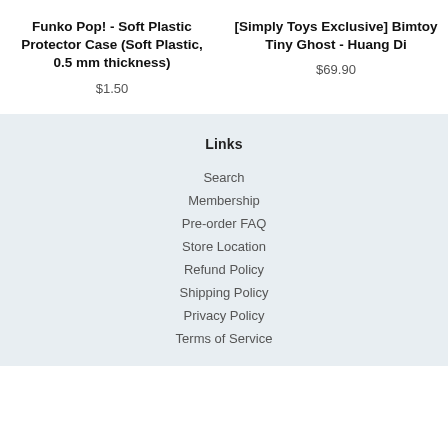Funko Pop! - Soft Plastic Protector Case (Soft Plastic, 0.5 mm thickness)
$1.50
[Simply Toys Exclusive] Bimtoy Tiny Ghost - Huang Di
$69.90
Links
Search
Membership
Pre-order FAQ
Store Location
Refund Policy
Shipping Policy
Privacy Policy
Terms of Service